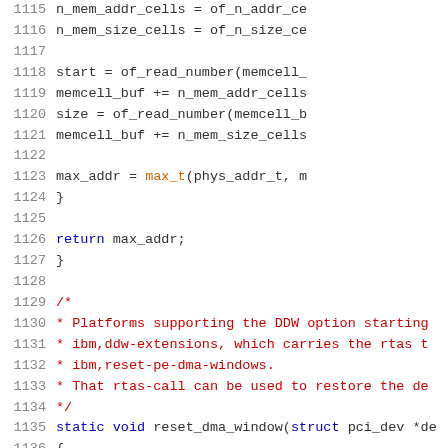Source code listing, lines 1115-1136, showing C kernel code for memory and DMA window handling.